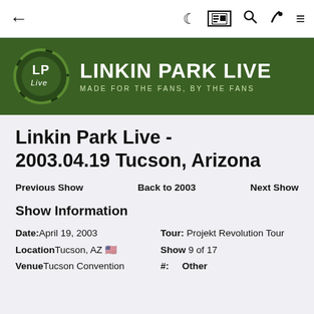← (back) | (moon icon) (card icon) (search icon) (brush icon) (menu icon)
[Figure (logo): Linkin Park Live banner with circular LP Live logo on dark green background. Text reads: LINKIN PARK LIVE — MADE FOR THE FANS, BY THE FANS]
Linkin Park Live - 2003.04.19 Tucson, Arizona
Previous Show | Back to 2003 | Next Show
Show Information
Date: April 19, 2003
Location: Tucson, AZ 🇺🇸
Venue: Tucson Convention
Tour: Projekt Revolution Tour
Show: 9 of 17
#: Other